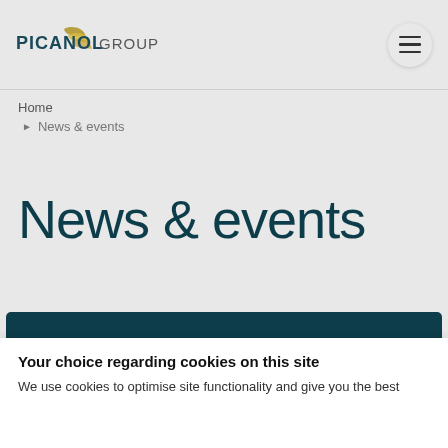Picanol Group — site header with logo and navigation menu button
Home
▶ News & events
News & events
[Figure (other): Dark teal banner/image strip at the bottom of the main content area]
Your choice regarding cookies on this site
We use cookies to optimise site functionality and give you the best